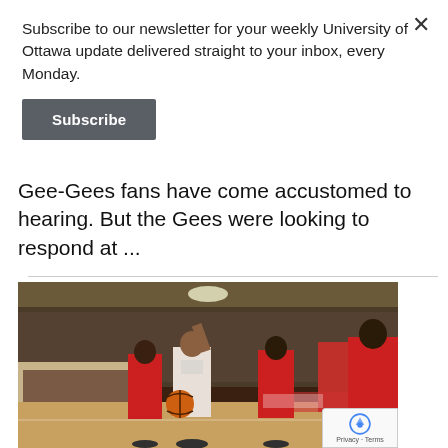Subscribe to our newsletter for your weekly University of Ottawa update delivered straight to your inbox, every Monday.
Subscribe
Gee-Gees fans have come accustomed to hearing. But the Gees were looking to respond at ...
[Figure (photo): Basketball game photo showing a University of Ottawa Gee-Gees player driving past a defender in red jersey, with a packed gymnasium crowd in the background.]